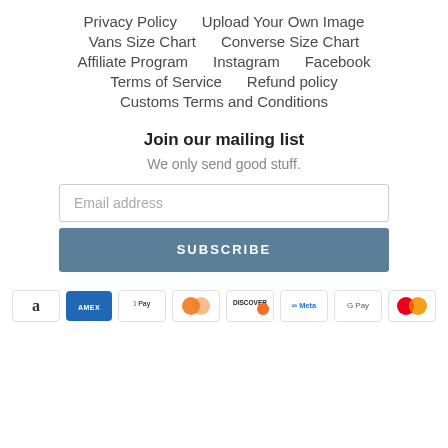Privacy Policy
Upload Your Own Image
Vans Size Chart
Converse Size Chart
Affiliate Program
Instagram
Facebook
Terms of Service
Refund policy
Customs Terms and Conditions
Join our mailing list
We only send good stuff.
Email address
SUBSCRIBE
[Figure (other): Payment method icons: Amazon, Amex, Apple Pay, Diners Club, Discover, Meta Pay, Google Pay, Mastercard]